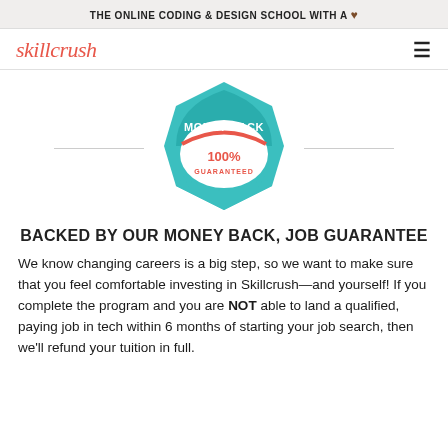THE ONLINE CODING & DESIGN SCHOOL WITH A ♥
[Figure (logo): Skillcrush logo in red italic script font]
[Figure (illustration): Money back 100% guaranteed badge/seal in teal and coral red colors]
BACKED BY OUR MONEY BACK, JOB GUARANTEE
We know changing careers is a big step, so we want to make sure that you feel comfortable investing in Skillcrush—and yourself! If you complete the program and you are NOT able to land a qualified, paying job in tech within 6 months of starting your job search, then we'll refund your tuition in full.